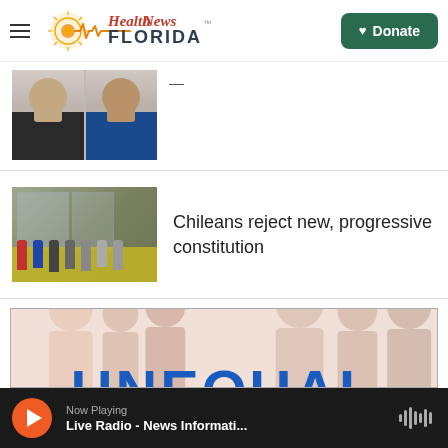Health News Florida — Donate
[Figure (photo): Two mugshot-style portrait photos of men side by side, partially cropped at top]
[Figure (photo): People standing in a queue outdoors near a building with a yellow wall, wearing masks]
Chileans reject new, progressive constitution
[Figure (illustration): Promotional banner image with silhouetted figures in pastel colors and large blue text reading UNEQUAL at the bottom]
Now Playing Live Radio - News Informati...